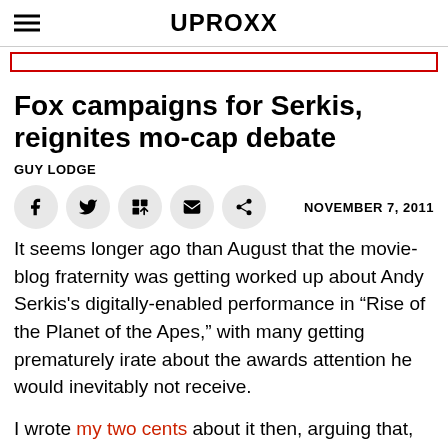UPROXX
Fox campaigns for Serkis, reignites mo-cap debate
GUY LODGE
NOVEMBER 7, 2011
It seems longer ago than August that the movie-blog fraternity was getting worked up about Andy Serkis's digitally-enabled performance in “Rise of the Planet of the Apes,” with many getting prematurely irate about the awards attention he would inevitably not receive.
I wrote my two cents about it then, arguing that, skilful as his work is, “much of the critical praise for Serkis’s